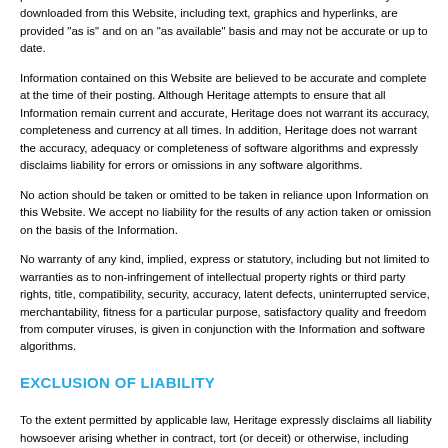professional adviser. Information contained on this Website or which may be downloaded from this Website, including text, graphics and hyperlinks, are provided "as is" and on an "as available" basis and may not be accurate or up to date.
Information contained on this Website are believed to be accurate and complete at the time of their posting. Although Heritage attempts to ensure that all Information remain current and accurate, Heritage does not warrant its accuracy, completeness and currency at all times. In addition, Heritage does not warrant the accuracy, adequacy or completeness of software algorithms and expressly disclaims liability for errors or omissions in any software algorithms.
No action should be taken or omitted to be taken in reliance upon Information on this Website. We accept no liability for the results of any action taken or omission on the basis of the Information.
No warranty of any kind, implied, express or statutory, including but not limited to warranties as to non-infringement of intellectual property rights or third party rights, title, compatibility, security, accuracy, latent defects, uninterrupted service, merchantability, fitness for a particular purpose, satisfactory quality and freedom from computer viruses, is given in conjunction with the Information and software algorithms.
EXCLUSION OF LIABILITY
To the extent permitted by applicable law, Heritage expressly disclaims all liability howsoever arising whether in contract, tort (or deceit) or otherwise, including without limitation, direct or indirect, special, incidental, moral or